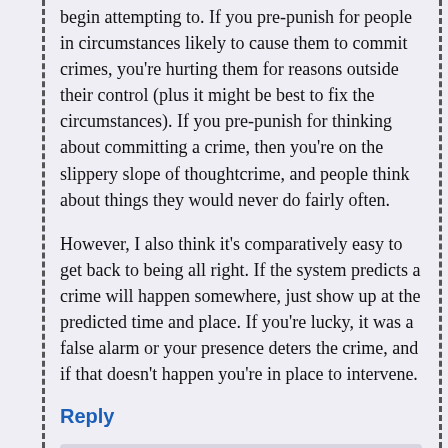begin attempting to. If you pre-punish for people in circumstances likely to cause them to commit crimes, you're hurting them for reasons outside their control (plus it might be best to fix the circumstances). If you pre-punish for thinking about committing a crime, then you're on the slippery slope of thoughtcrime, and people think about things they would never do fairly often.
However, I also think it's comparatively easy to get back to being all right. If the system predicts a crime will happen somewhere, just show up at the predicted time and place. If you're lucky, it was a false alarm or your presence deters the crime, and if that doesn't happen you're in place to intervene.
Reply
Zak McKracken says: Thursday, Aug 28, 2014 at 10:29 am